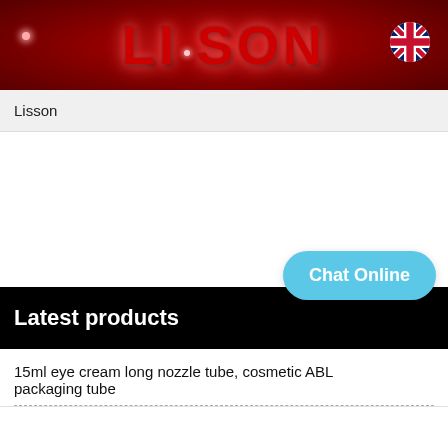[Figure (logo): Lisson brand header banner with red background, glowing red LISSON text logo, UK flag icon top right, decorative light dots]
Lisson
Latest products
15ml eye cream long nozzle tube, cosmetic ABL packaging tube